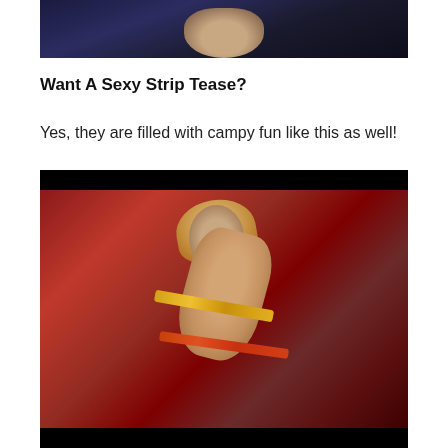[Figure (photo): Dark photo of people, partially cropped at top of page]
Want A Sexy Strip Tease?
Yes, they are filled with campy fun like this as well!
[Figure (photo): Photo of a dancer in red and gold costume against a dark red background, posed with arms raised, with black bars at top and bottom]